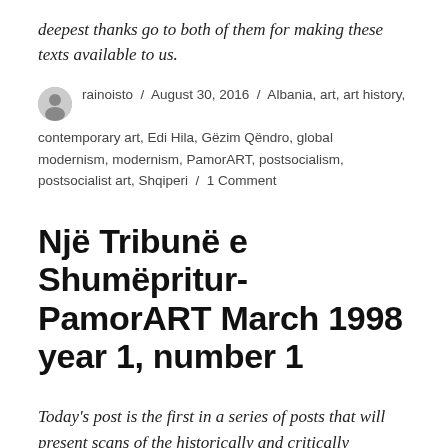deepest thanks go to both of them for making these texts available to us.
rainoisto / August 30, 2016 / Albania, art, art history, contemporary art, Edi Hila, Gëzim Qëndro, global modernism, modernism, PamorART, postsocialism, postsocialist art, Shqiperi / 1 Comment
Një Tribunë e Shumëpritur- PamorART March 1998 year 1, number 1
Today's post is the first in a series of posts that will present scans of the historically and critically